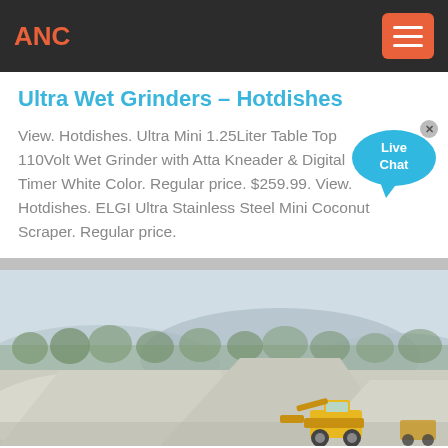ANC
Ultra Wet Grinders – Hotdishes
View. Hotdishes. Ultra Mini 1.25Liter Table Top 110Volt Wet Grinder with Atta Kneader & Digital Timer White Color. Regular price. $259.99. View. Hotdishes. ELGI Ultra Stainless Steel Mini Coconut Scraper. Regular price.
[Figure (photo): Outdoor scene showing large mounds of white/grey gravel or crushed stone aggregate with a yellow front-end loader/bulldozer in the foreground and forested hills in the background under an overcast sky.]